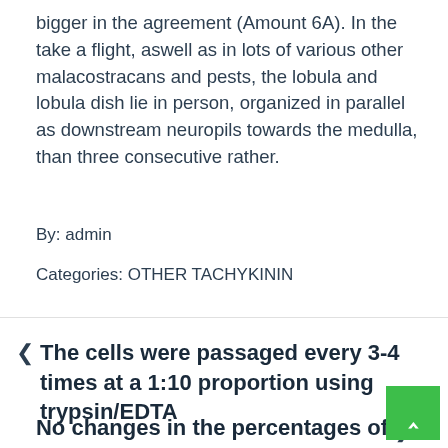bigger in the agreement (Amount 6A). In the take a flight, aswell as in lots of various other malacostracans and pests, the lobula and lobula dish lie in person, organized in parallel as downstream neuropils towards the medulla, than three consecutive rather.
By: admin
Categories: OTHER TACHYKININ
The cells were passaged every 3-4 times at a 1:10 proportion using trypsin/EDTA
No changes in the percentages of